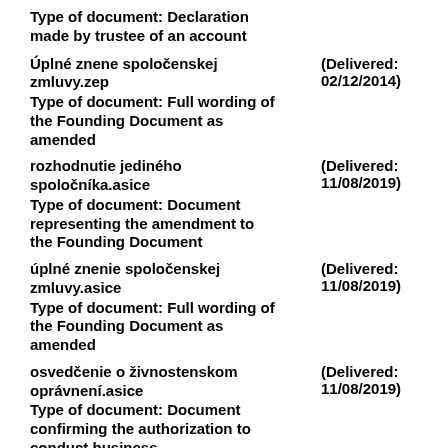Type of document: Declaration made by trustee of an account
Úplné znene spoločenskej zmluvy.zep
Type of document: Full wording of the Founding Document as amended
(Delivered: 02/12/2014)
rozhodnutie jediného spoločníka.asice
Type of document: Document representing the amendment to the Founding Document
(Delivered: 11/08/2019)
úplné znenie spoločenskej zmluvy.asice
Type of document: Full wording of the Founding Document as amended
(Delivered: 11/08/2019)
osvedčenie o živnostenskom oprávnení.asice
Type of document: Document confirming the authorization to conduct business
(Delivered: 11/08/2019)
zaslanie vzdanie sa funkcie.asice
Type of document: Document confirming the authorization to conduct business
(Delivered: 02/21/2020)
vzdanie sa funkcie konateľa.asice
(Delivered: